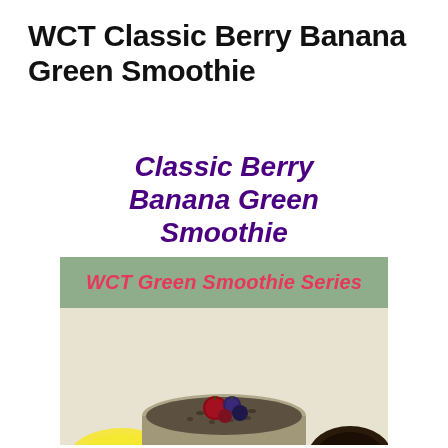WCT Classic Berry Banana Green Smoothie
[Figure (illustration): Promotional image for 'Classic Berry Banana Green Smoothie' from WCT Green Smoothie Series. Top section shows bold italic purple text on white background. Middle section shows a sage green banner with pink italic text 'WCT Green Smoothie Series'. Bottom section shows a photograph of a mason jar smoothie topped with berries and chia seeds, with a banana and other fruits visible beside it.]